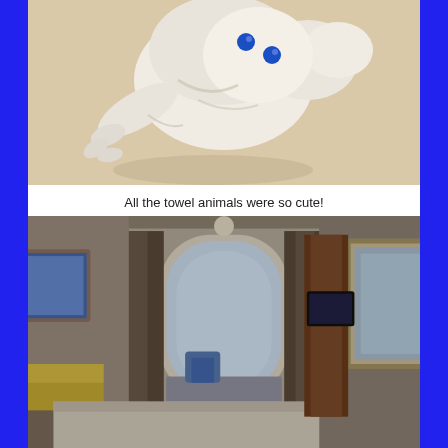[Figure (photo): Close-up photo of a white towel animal shaped like a crab or lobster on a beige surface, with two blue button eyes.]
All the towel animals were so cute!
[Figure (photo): Interior photo of a cruise ship cabin with a balcony door letting in light, wooden furnishings, a sofa, mirror, and TV visible.]